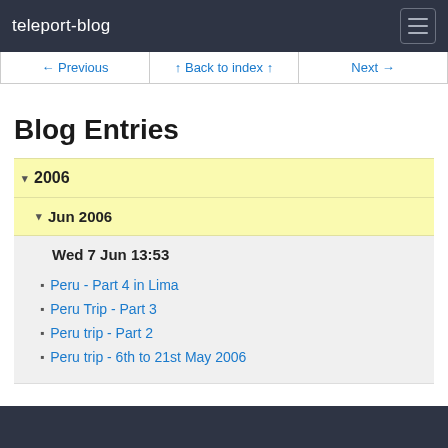teleport-blog
← Previous   ↑ Back to index ↑   Next →
Blog Entries
▾ 2006
▾ Jun 2006
Wed 7 Jun 13:53
Peru - Part 4 in Lima
Peru Trip - Part 3
Peru trip - Part 2
Peru trip - 6th to 21st May 2006